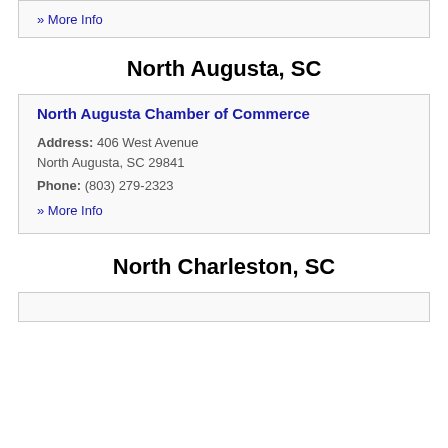» More Info
North Augusta, SC
North Augusta Chamber of Commerce
Address: 406 West Avenue
North Augusta, SC 29841
Phone: (803) 279-2323
» More Info
North Charleston, SC